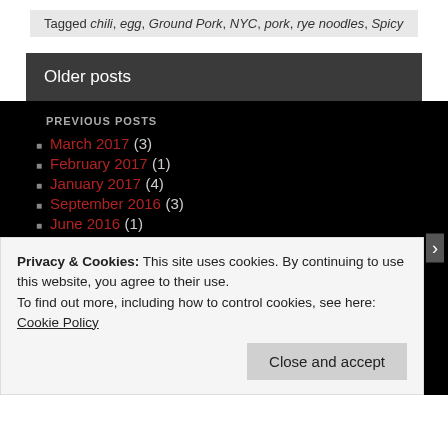Tagged chili, egg, Ground Pork, NYC, pork, rye noodles, Spicy
Older posts
PREVIOUS POSTS
March 2017 (3)
February 2017 (1)
January 2017 (4)
September 2016 (3)
June 2016 (1)
May 2016 (2)
November 2015 (2)
August 2015 (1)
Privacy & Cookies: This site uses cookies. By continuing to use this website, you agree to their use. To find out more, including how to control cookies, see here: Cookie Policy
Close and accept